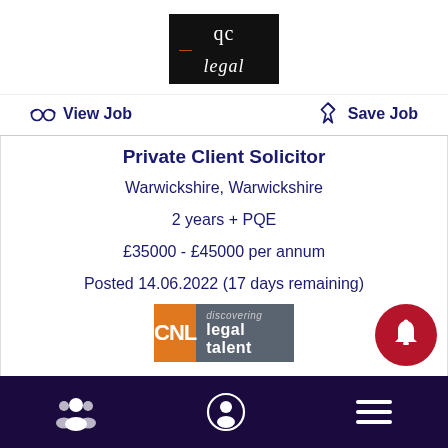[Figure (logo): QC Legal logo — black background with white serif text 'qc' and 'legal' in italic, with an orange-brown dash between them]
View Job
Save Job
Private Client Solicitor
Warwickshire, Warwickshire
2 years + PQE
£35000 - £45000 per annum
Posted 14.06.2022 (17 days remaining)
[Figure (logo): CNL discovering legal talent logo — grey background with orange left panel showing CNL initials and white text 'discovering legal talent']
Bottom navigation bar with group icon, profile icon, and menu icon